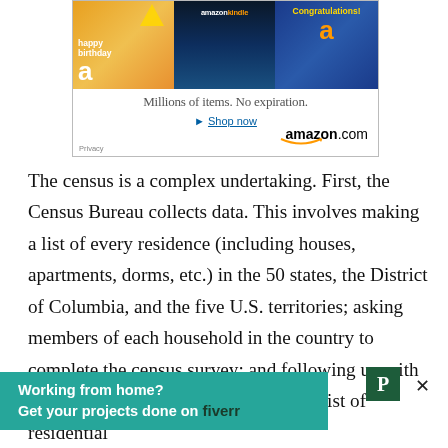[Figure (screenshot): Amazon advertisement banner showing gift cards (happy birthday, Amazon Kindle, Congratulations), tagline 'Millions of items. No expiration.', 'Shop now' link, amazon.com logo, and Privacy label.]
The census is a complex undertaking. First, the Census Bureau collects data. This involves making a list of every residence (including houses, apartments, dorms, etc.) in the 50 states, the District of Columbia, and the five U.S. territories; asking members of each household in the country to complete the census survey; and following up with those households that did not sub... ...cess the data. This involves making a final list of residential
[Figure (screenshot): Fiverr advertisement overlay: green banner reading 'Working from home? Get your projects done on fiverr', with a P icon and X close button.]